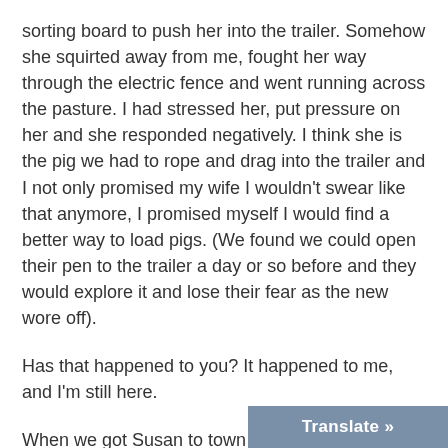sorting board to push her into the trailer. Somehow she squirted away from me, fought her way through the electric fence and went running across the pasture. I had stressed her, put pressure on her and she responded negatively. I think she is the pig we had to rope and drag into the trailer and I not only promised my wife I wouldn't swear like that anymore, I promised myself I would find a better way to load pigs. (We found we could open their pen to the trailer a day or so before and they would explore it and lose their fear as the new wore off).
Has that happened to you? It happened to me, and I'm still here.
When we got Susan to town I backed into the loading chute at the slaughter house. But I backed up a little crooked. One of the guys held up a board